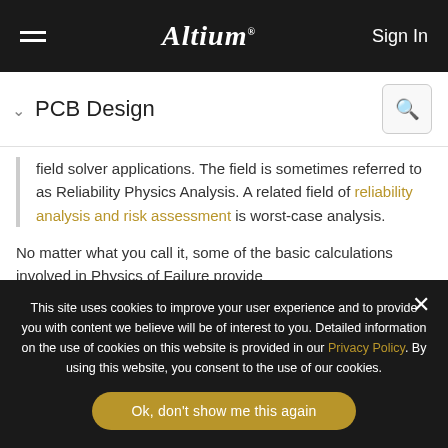Altium — Sign In
PCB Design
field solver applications. The field is sometimes referred to as Reliability Physics Analysis. A related field of reliability analysis and risk assessment is worst-case analysis.
No matter what you call it, some of the basic calculations involved in Physics of Failure provide
This site uses cookies to improve your user experience and to provide you with content we believe will be of interest to you. Detailed information on the use of cookies on this website is provided in our Privacy Policy. By using this website, you consent to the use of our cookies.
Ok, don't show me this again